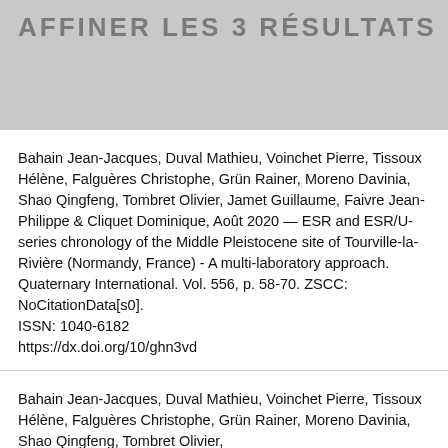AFFINER LES 3 RÉSULTATS
Bahain Jean-Jacques, Duval Mathieu, Voinchet Pierre, Tissoux Hélène, Falguères Christophe, Grün Rainer, Moreno Davinia, Shao Qingfeng, Tombret Olivier, Jamet Guillaume, Faivre Jean-Philippe & Cliquet Dominique, Août 2020 — ESR and ESR/U-series chronology of the Middle Pleistocene site of Tourville-la-Rivière (Normandy, France) - A multi-laboratory approach. Quaternary International. Vol. 556, p. 58-70. ZSCC: NoCitationData[s0]. ISSN: 1040-6182 https://dx.doi.org/10/ghn3vd
Bahain Jean-Jacques, Duval Mathieu, Voinchet Pierre, Tissoux Hélène, Falguères Christophe, Grün Rainer, Moreno Davinia, Shao Qingfeng, Tombret Olivier,